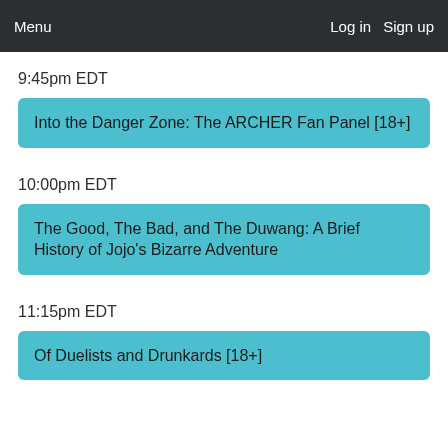Menu   Log in   Sign up
9:45pm EDT
Into the Danger Zone: The ARCHER Fan Panel [18+]
10:00pm EDT
The Good, The Bad, and The Duwang: A Brief History of Jojo's Bizarre Adventure
11:15pm EDT
Of Duelists and Drunkards [18+]